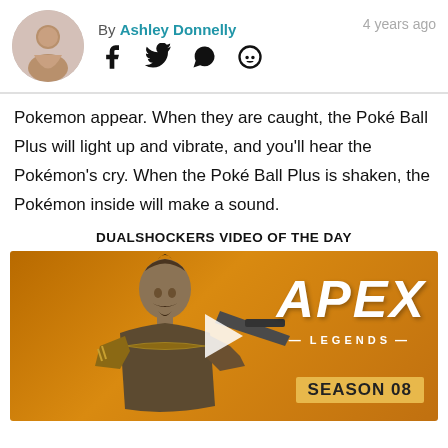By Ashley Donnelly   4 years ago
Pokemon appear. When they are caught, the Poké Ball Plus will light up and vibrate, and you'll hear the Pokémon's cry. When the Poké Ball Plus is shaken, the Pokémon inside will make a sound.
DUALSHOCKERS VIDEO OF THE DAY
[Figure (screenshot): Apex Legends Season 08 video thumbnail showing a character with a gun on an orange background, with a play button overlay.]